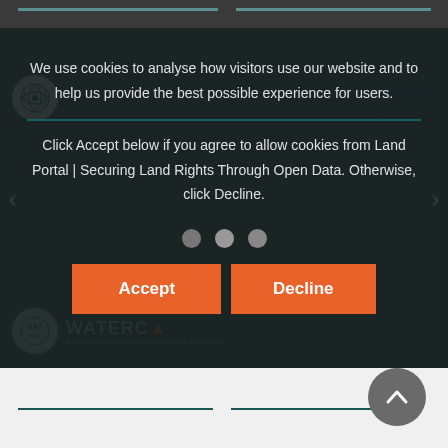[Figure (screenshot): Website screenshot with dark semi-transparent overlay showing cookie consent modal on top of a website with logos (RCMRD, SARPN) and carousel navigation arrows]
We use cookies to analyse how visitors use our website and to help us provide the best possible experience for users.
Click Accept below if you agree to allow cookies from Land Portal | Securing Land Rights Through Open Data. Otherwise, click Decline.
Accept
Decline